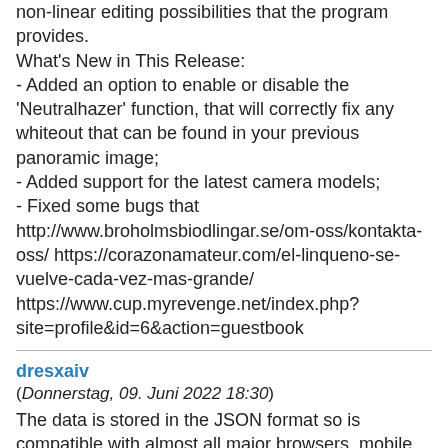non-linear editing possibilities that the program provides.
What's New in This Release:
- Added an option to enable or disable the 'Neutralhazer' function, that will correctly fix any whiteout that can be found in your previous panoramic image;
- Added support for the latest camera models;
- Fixed some bugs that http://www.broholmsbiodlingar.se/om-oss/kontakta-oss/ https://corazonamateur.com/el-linqueno-se-vuelve-cada-vez-mas-grande/ https://www.cup.myrevenge.net/index.php?site=profile&id=6&action=guestbook
dresxaiv
(Donnerstag, 09. Juni 2022 18:30)
The data is stored in the JSON format so is compatible with almost all major browsers, mobile apps, online tools and services.
It is based on the public Alexa API and is compliant with service